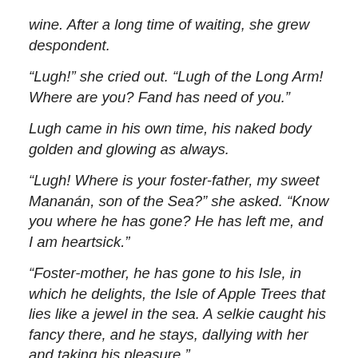wine. After a long time of waiting, she grew despondent.
“Lugh!” she cried out. “Lugh of the Long Arm! Where are you? Fand has need of you.”
Lugh came in his own time, his naked body golden and glowing as always.
“Lugh! Where is your foster-father, my sweet Manannan, son of the Sea?” she asked. “Know you where he has gone? He has left me, and I am heartsick.”
“Foster-mother, he has gone to his Isle, in which he delights, the Isle of Apple Trees that lies like a jewel in the sea. A selkie caught his fancy there, and he stays, dallying with her and taking his pleasure.”
“Lugh, make him return to me. I am his wife. I am your